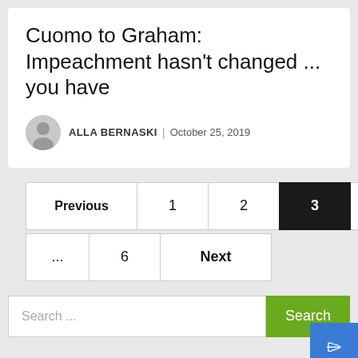Cuomo to Graham: Impeachment hasn't changed ... you have
ALLA BERNASKI | October 25, 2019
Previous
1
2
3
4
...
6
Next
Search ...
Website Design